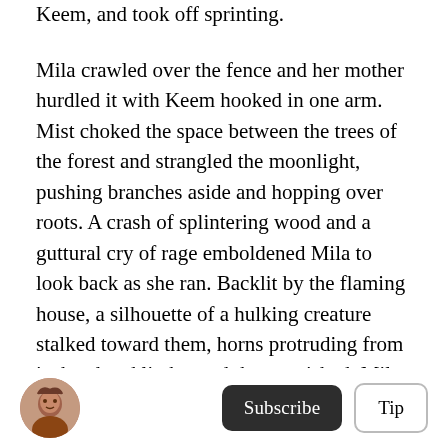Keem, and took off sprinting.
Mila crawled over the fence and her mother hurdled it with Keem hooked in one arm. Mist choked the space between the trees of the forest and strangled the moonlight, pushing branches aside and hopping over roots. A crash of splintering wood and a guttural cry of rage emboldened Mila to look back as she ran. Backlit by the flaming house, a silhouette of a hulking creature stalked toward them, horns protruding from its head and limbs, and then vanished. Mila sighed with relief and slowed to catch her breath, only to be pulled onward by her
Subscribe | Tip